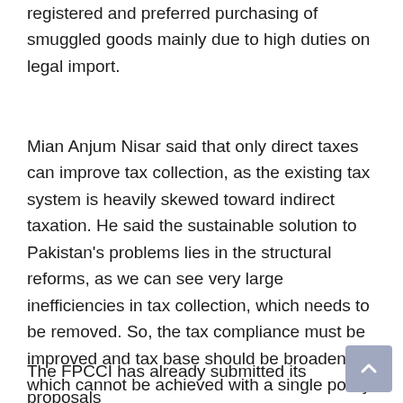registered and preferred purchasing of smuggled goods mainly due to high duties on legal import.
Mian Anjum Nisar said that only direct taxes can improve tax collection, as the existing tax system is heavily skewed toward indirect taxation. He said the sustainable solution to Pakistan's problems lies in the structural reforms, as we can see very large inefficiencies in tax collection, which needs to be removed. So, the tax compliance must be improved and tax base should be broadened, which cannot be achieved with a single policy change, but by a systemic approach.
The FPCCI has already submitted its proposals